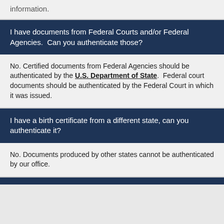information.
I have documents from Federal Courts and/or Federal Agencies.  Can you authenticate those?
No. Certified documents from Federal Agencies should be authenticated by the U.S. Department of State.  Federal court documents should be authenticated by the Federal Court in which it was issued.
I have a birth certificate from a different state, can you authenticate it?
No. Documents produced by other states cannot be authenticated by our office.